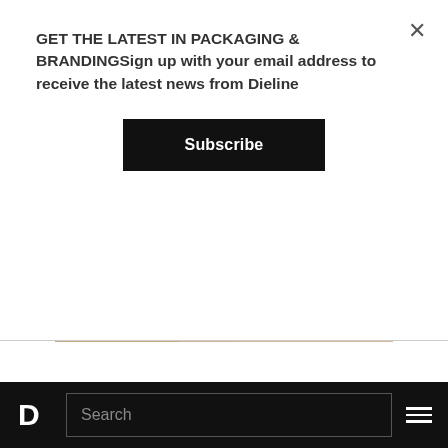GET THE LATEST IN PACKAGING & BRANDINGSign up with your email address to receive the latest news from Dieline
Subscribe
[Figure (photo): Wooden textured surface with a small dark triangular chocolate piece and white paper, viewed from above]
[Figure (photo): Blurred beige/tan background, possibly packaging material]
D  Search  ☰